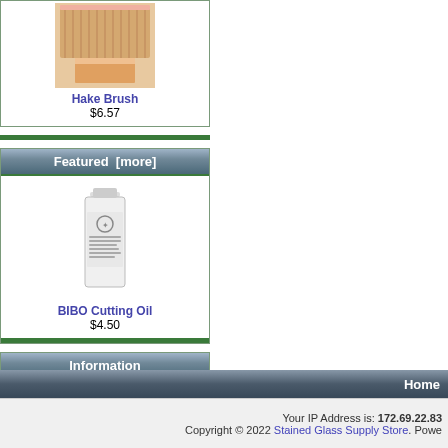[Figure (photo): Hake Brush product image - a flat brush with wooden handle and bristles]
Hake Brush
$6.57
Featured  [more]
[Figure (photo): BIBO Cutting Oil product image - white bottle with label]
BIBO Cutting Oil
$4.50
Information
Shipping & Returns
Privacy Notice
Conditions of Use
Contact Us
Site Map
Gift Certificate FAQ
Discount Coupons
Newsletter Unsubscribe
Home
Your IP Address is: 172.69.22.83
Copyright © 2022 Stained Glass Supply Store. Powe